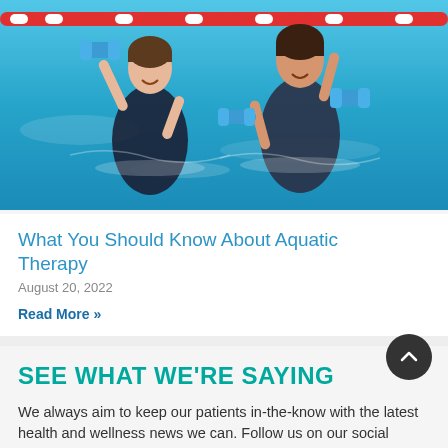[Figure (photo): Two women doing aquatic exercise in a swimming pool, holding blue foam dumbbells, with red lane dividers in the background. They are smiling and appear to be mid-exercise.]
What You Should Know About Aquatic Therapy
August 20, 2022
Read More »
SEE WHAT WE'RE SAYING
We always aim to keep our patients in-the-know with the latest health and wellness news we can. Follow us on our social media channels to